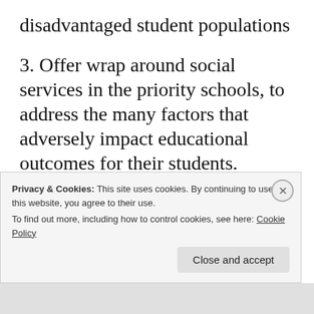disadvantaged student populations
3. Offer wrap around social services in the priority schools, to address the many factors that adversely impact educational outcomes for their students.
All of us want what is best for the children attending priority schools. The current DDOE plan is not likely to help
Privacy & Cookies: This site uses cookies. By continuing to use this website, you agree to their use.
To find out more, including how to control cookies, see here: Cookie Policy
Close and accept